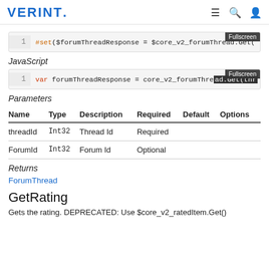VERINT.
[Figure (screenshot): Code block showing Velocity: #set($forumThreadResponse = $core_v2_forumThread.Get( with Fullscreen button]
JavaScript
[Figure (screenshot): Code block showing JavaScript: var forumThreadResponse = core_v2_forumThre... with Fullscreen button]
Parameters
| Name | Type | Description | Required | Default | Options |
| --- | --- | --- | --- | --- | --- |
| threadId | Int32 | Thread Id | Required |  |  |
| ForumId | Int32 | Forum Id | Optional |  |  |
Returns
ForumThread
GetRating
Gets the rating. DEPRECATED: Use $core_v2_ratedItem.Get()